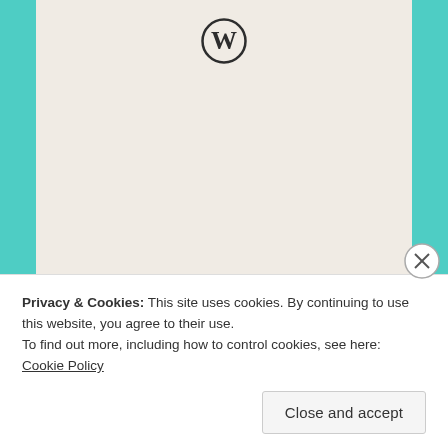[Figure (logo): WordPress circular W logo in black outline on light beige background]
Need a website quickly – and on a budget?
Let us build it for you
Privacy & Cookies: This site uses cookies. By continuing to use this website, you agree to their use.
To find out more, including how to control cookies, see here: Cookie Policy
Close and accept